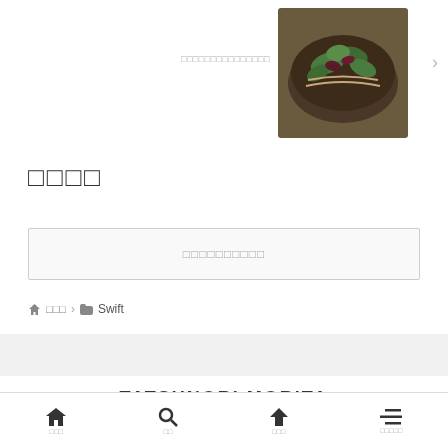[Figure (photo): Food photo: bowl of noodles or salad with dark leafy greens and vegetables in a wooden bowl]
□□□□□□□□□□□□□□□
□□□□
□□□□□□□□□□
⌂ □□□ > 📁 Swift
TATSUNORI MORITA
⌂ □□□   🔍 □□   ↑ □□□   ≡ □□□□□